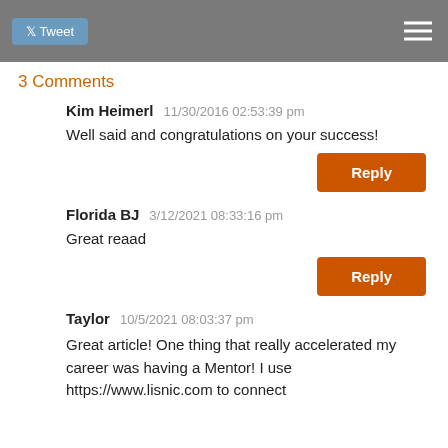Tweet  ☰
3 Comments
Kim Heimerl   11/30/2016 02:53:39 pm
Well said and congratulations on your success!
Reply
Florida BJ   3/12/2021 08:33:16 pm
Great reaad
Reply
Taylor   10/5/2021 08:03:37 pm
Great article! One thing that really accelerated my career was having a Mentor! I use https://www.lisnic.com to connect